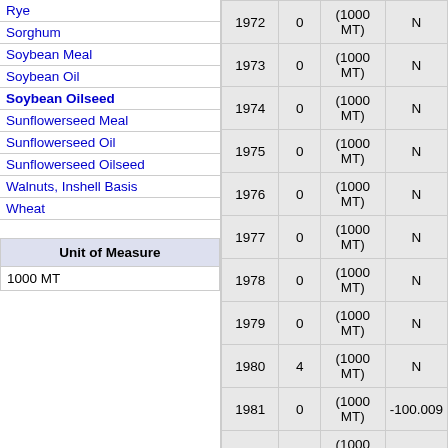Rye
Sorghum
Soybean Meal
Soybean Oil
Soybean Oilseed
Sunflowerseed Meal
Sunflowerseed Oil
Sunflowerseed Oilseed
Walnuts, Inshell Basis
Wheat
| Unit of Measure |
| --- |
| 1000 MT |
| Year | Value | Unit | Change |
| --- | --- | --- | --- |
| 1972 | 0 | (1000 MT) | N |
| 1973 | 0 | (1000 MT) | N |
| 1974 | 0 | (1000 MT) | N |
| 1975 | 0 | (1000 MT) | N |
| 1976 | 0 | (1000 MT) | N |
| 1977 | 0 | (1000 MT) | N |
| 1978 | 0 | (1000 MT) | N |
| 1979 | 0 | (1000 MT) | N |
| 1980 | 4 | (1000 MT) | N |
| 1981 | 0 | (1000 MT) | -100.009 |
| 1982 | 2 | (1000 MT) | N |
| 1983 |  | (1000 MT) |  |